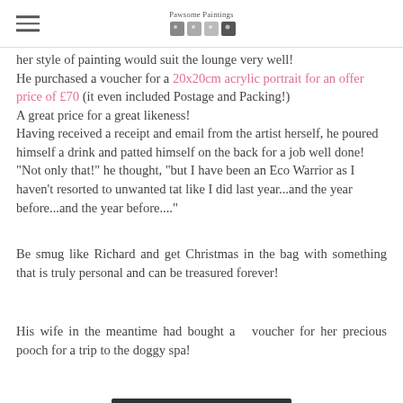Pawsome Paintings
her style of painting would suit the lounge very well!
He purchased a voucher for a 20x20cm acrylic portrait for an offer price of £70 (it even included Postage and Packing!)
A great price for a great likeness!
Having received a receipt and email from the artist herself, he poured himself a drink and patted himself on the back for a job well done!
"Not only that!" he thought, "but I have been an Eco Warrior as I haven't resorted to unwanted tat like I did last year...and the year before...and the year before...."
Be smug like Richard and get Christmas in the bag with something that is truly personal and can be treasured forever!
His wife in the meantime had bought a  voucher for her precious pooch for a trip to the doggy spa!